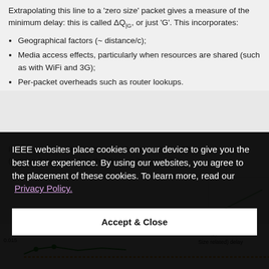Extrapolating this line to a 'zero size' packet gives a measure of the minimum delay: this is called ΔQ|G, or just 'G'. This incorporates:
Geographical factors (~ distance/c);
Media access effects, particularly when resources are shared (such as with WiFi and 3G);
Per-packet overheads such as router lookups.
It represents the irreducible cost of transporting a SDU (service data unit). Note that this, on its own, be it...
[Figure (other): Cookie consent overlay banner on IEEE website with text: IEEE websites place cookies on your device to give you the best user experience. By using our websites, you agree to the placement of these cookies. To learn more, read our Privacy Policy. Accept & Close button.]
[Figure (line-chart): Partial line chart visible at the bottom of the page showing (b) Size related delay with y-axis label 0.015, orange and green data series.]